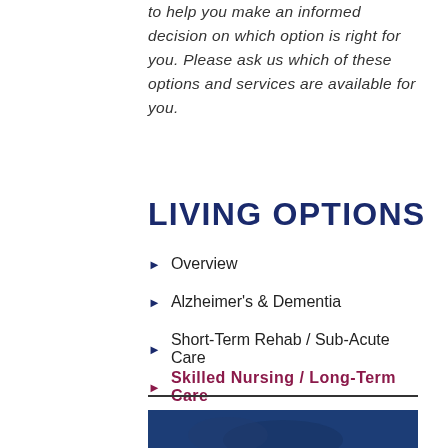to help you make an informed decision on which option is right for you. Please ask us which of these options and services are available for you.
LIVING OPTIONS
Overview
Alzheimer's & Dementia
Short-Term Rehab / Sub-Acute Care
Skilled Nursing / Long-Term Care
[Figure (photo): Blue-toned photo of a care facility or nursing scene, partially visible at the bottom of the page]